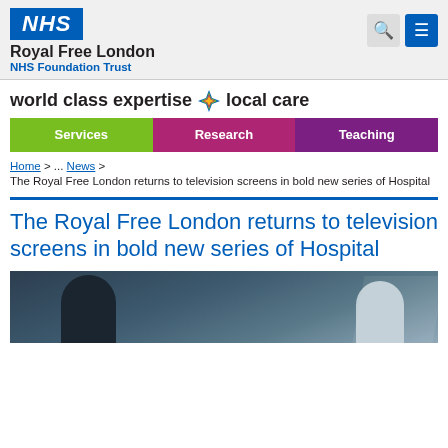NHS Royal Free London NHS Foundation Trust
world class expertise ✦ local care
Services  Research  Teaching
Home > ... News > The Royal Free London returns to television screens in bold new series of Hospital
The Royal Free London returns to television screens in bold new series of Hospital
[Figure (photo): Photo of people in a hospital setting, partially visible at the bottom of the page]